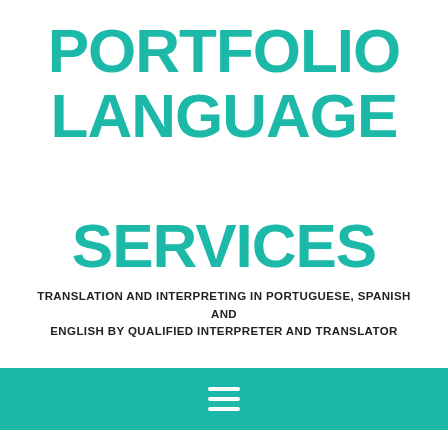PORTFOLIO LANGUAGE SERVICES
TRANSLATION AND INTERPRETING IN PORTUGUESE, SPANISH AND ENGLISH BY QUALIFIED INTERPRETER AND TRANSLATOR
[Figure (other): Teal navigation bar with hamburger menu icon (three white horizontal lines)]
Which are the most common Christian-inspired